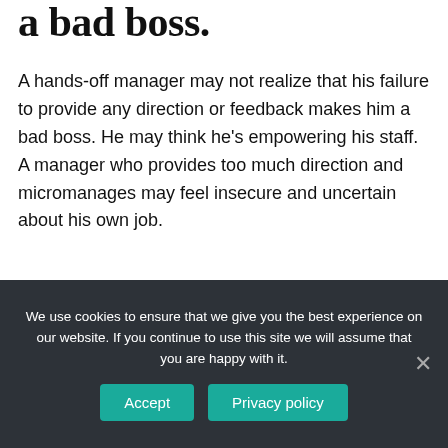a bad boss.
A hands-off manager may not realize that his failure to provide any direction or feedback makes him a bad boss. He may think he's empowering his staff. A manager who provides too much direction and micromanages may feel insecure and uncertain about his own job.
When do you have a problem with your boss?
We use cookies to ensure that we give you the best experience on our website. If you continue to use this site we will assume that you are happy with it.
Accept   Privacy policy